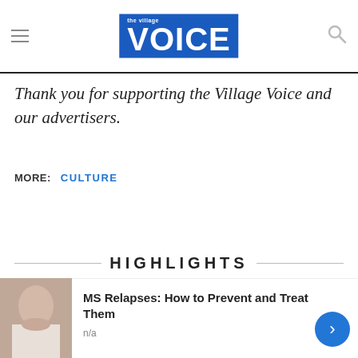the Village VOICE
Thank you for supporting the Village Voice and our advertisers.
MORE: CULTURE
HIGHLIGHTS
WAR IN UKRAINE
[Figure (photo): Photo thumbnail at bottom left, colorful outdoor scene]
[Figure (photo): Advertisement photo of a woman, MS Relapses ad]
MS Relapses: How to Prevent and Treat Them
n/a